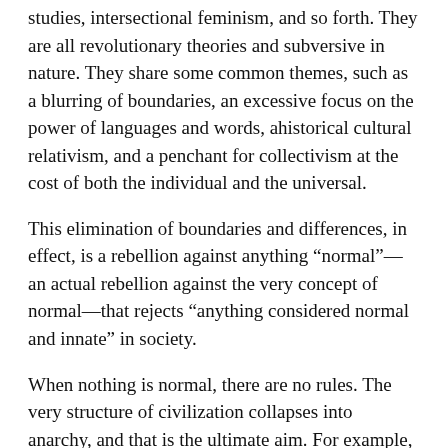studies, intersectional feminism, and so forth. They are all revolutionary theories and subversive in nature. They share some common themes, such as a blurring of boundaries, an excessive focus on the power of languages and words, ahistorical cultural relativism, and a penchant for collectivism at the cost of both the individual and the universal.
This elimination of boundaries and differences, in effect, is a rebellion against anything “normal”—an actual rebellion against the very concept of normal—that rejects “anything considered normal and innate” in society.
When nothing is normal, there are no rules. The very structure of civilization collapses into anarchy, and that is the ultimate aim. For example, Pluckrose and Lindsay write,
“Queer theory is about liberation from the normal, especially where it comes to norms of gender and sexuality. This is because it regards the very existence of categories of sex, gender, and sexuality to be oppressive. Because queer theory derives directly from postmodernism, it is radically skeptical that these categories